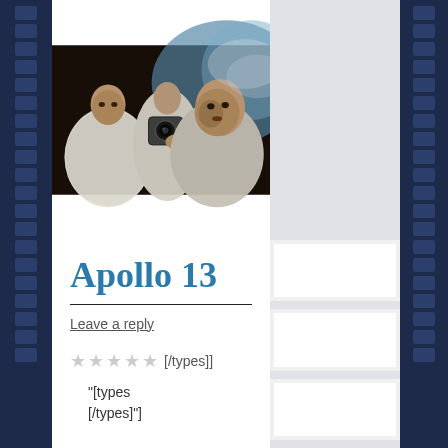[Figure (photo): Three astronauts or actors in white jumpsuits, one holding a camera pointed toward viewer, in a cramped spacecraft interior. Film still from Apollo 13.]
Apollo 13
Leave a reply
★ ★ ★ ★ ★ [/types]]
"[types [/types]"